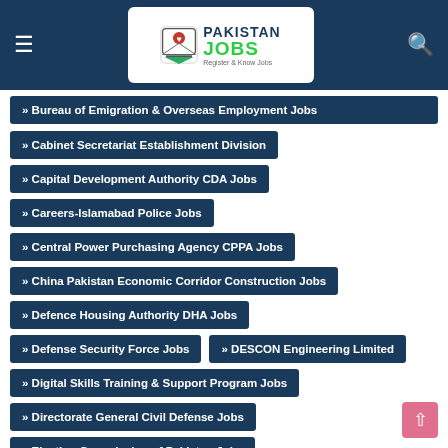Pakistan Jobs — navigation header
Bureau of Emigration & Overseas Employment Jobs
Cabinet Secretariat Establishment Division
Capital Development Authority CDA Jobs
Careers-Islamabad Police Jobs
Central Power Purchasing Agency CPPA Jobs
China Pakistan Economic Corridor Construction Jobs
Defence Housing Authority DHA Jobs
Defense Security Force Jobs
DESCON Engineering Limited
Digital Skills Training & Support Program Jobs
Directorate General Civil Defense Jobs
Election Commission of Pakistan Jobs
Establishment Division Jobs